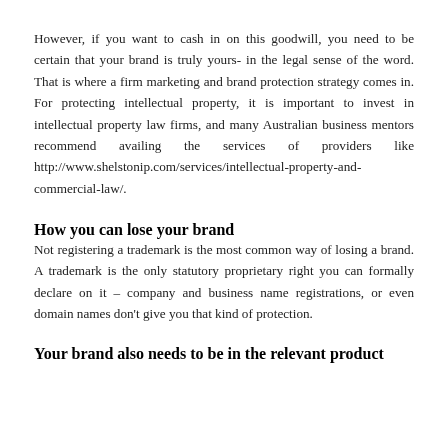However, if you want to cash in on this goodwill, you need to be certain that your brand is truly yours- in the legal sense of the word. That is where a firm marketing and brand protection strategy comes in. For protecting intellectual property, it is important to invest in intellectual property law firms, and many Australian business mentors recommend availing the services of providers like http://www.shelstonip.com/services/intellectual-property-and-commercial-law/.
How you can lose your brand
Not registering a trademark is the most common way of losing a brand. A trademark is the only statutory proprietary right you can formally declare on it – company and business name registrations, or even domain names don't give you that kind of protection.
Your brand also needs to be in the relevant product